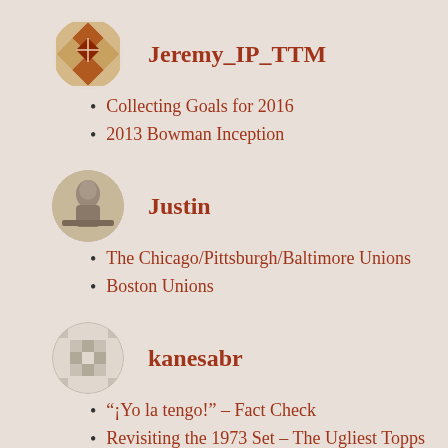[Figure (illustration): Decorative geometric/quilt pattern avatar icon for user Jeremy_IP_TTM]
Jeremy_IP_TTM
Collecting Goals for 2016
2013 Bowman Inception
[Figure (photo): Sepia vintage photo avatar for user Justin]
Justin
The Chicago/Pittsburgh/Baltimore Unions
Boston Unions
[Figure (illustration): Pixelated/checkerboard pattern avatar for user kanesabr]
kanesabr
“¡Yo la tengo!” – Fact Check
Revisiting the 1973 Set – The Ugliest Topps Baseball Set Ever